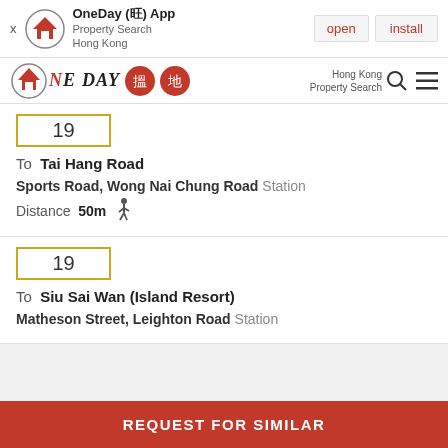OneDay (旺) App – Property Search Hong Kong – open – install
[Figure (logo): OneDay property search Hong Kong logo with Chinese characters]
19
To Tai Hang Road
Sports Road, Wong Nai Chung Road Station
Distance 50m
19
To Siu Sai Wan (Island Resort)
Matheson Street, Leighton Road Station
REQUEST FOR SIMILAR